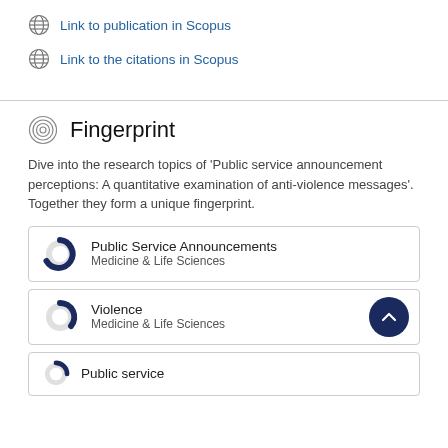Link to publication in Scopus
Link to the citations in Scopus
Fingerprint
Dive into the research topics of 'Public service announcement perceptions: A quantitative examination of anti-violence messages'. Together they form a unique fingerprint.
Public Service Announcements
Medicine & Life Sciences
Violence
Medicine & Life Sciences
Public service